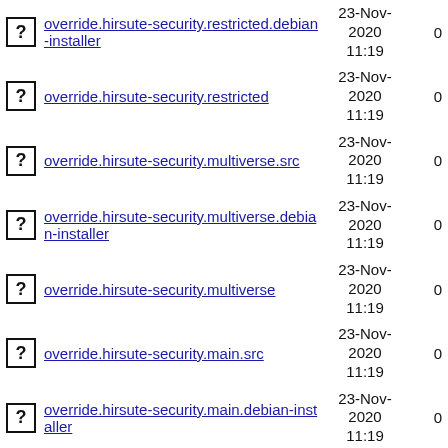override.hirsute-security.restricted.debian-installer  23-Nov-2020 11:19  0
override.hirsute-security.restricted  23-Nov-2020 11:19  0
override.hirsute-security.multiverse.src  23-Nov-2020 11:19  0
override.hirsute-security.multiverse.debian-installer  23-Nov-2020 11:19  0
override.hirsute-security.multiverse  23-Nov-2020 11:19  0
override.hirsute-security.main.src  23-Nov-2020 11:19  0
override.hirsute-security.main.debian-installer  23-Nov-2020 11:19  0
override.hirsute-security.main  23-Nov-2020 11:19  0